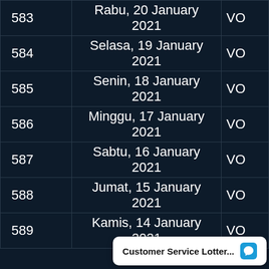| No | Tanggal | Hasil |
| --- | --- | --- |
| 583 | Rabu, 20 January 2021 | VO |
| 584 | Selasa, 19 January 2021 | VO |
| 585 | Senin, 18 January 2021 | VO |
| 586 | Minggu, 17 January 2021 | VO |
| 587 | Sabtu, 16 January 2021 | VO |
| 588 | Jumat, 15 January 2021 | VO |
| 589 | Kamis, 14 January 2021 | VO |
Customer Service Lotter...